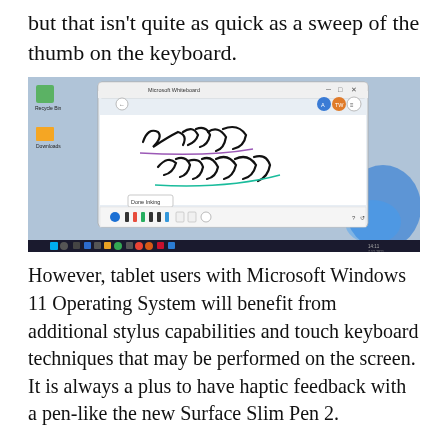but that isn't quite as quick as a sweep of the thumb on the keyboard.
[Figure (screenshot): Screenshot of Microsoft Whiteboard application on Windows 11 desktop with 'Expert Reviews' written in handwriting on the whiteboard canvas. A 'Done Inking' button is visible at the bottom of the whiteboard. Windows 11 taskbar is visible at the bottom.]
However, tablet users with Microsoft Windows 11 Operating System will benefit from additional stylus capabilities and touch keyboard techniques that may be performed on the screen. It is always a plus to have haptic feedback with a pen-like the new Surface Slim Pen 2.